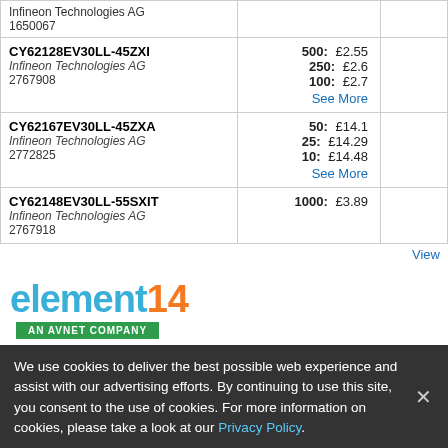| Part / Manufacturer / ID | Price Breaks |  |
| --- | --- | --- |
| [Infineon Technologies AG]
1650067 |  |  |
| CY62128EV30LL-45ZXI
Infineon Technologies AG
2767908 | 500: £2.55
250: £2.6
100: £2.7
See More |  |
| CY62167EV30LL-45ZXA
Infineon Technologies AG
2772825 | 50: £14.1
25: £14.29
10: £14.48
See More |  |
| CY62148EV30LL-55SXIT
Infineon Technologies AG
2767918 | 1000: £3.89 |  |
View
[Figure (logo): element14 AN AVNET COMPANY logo — 'element' in teal/blue, '14' in orange, with green 'AN AVNET COMPANY' badge below]
We use cookies to deliver the best possible web experience and assist with our advertising efforts. By continuing to use this site, you consent to the use of cookies. For more information on cookies, please take a look at our Privacy Policy.